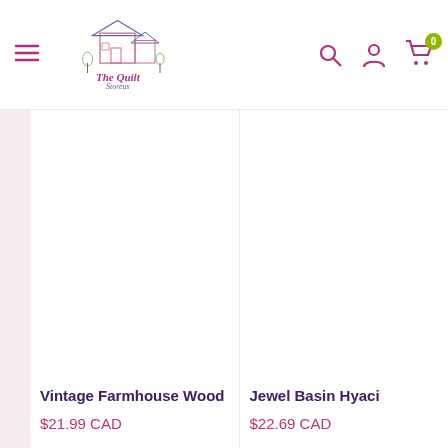The Quilt Storeus — navigation header with menu, logo, search, account, cart (0)
[Figure (photo): Product image area for Vintage Farmhouse Wood (blank/white product photo placeholder)]
[Figure (photo): Product image area for Jewel Basin Hyaci... (blank/white product photo placeholder)]
Vintage Farmhouse Wood
$21.99 CAD
Jewel Basin Hyaci...
$22.69 CAD